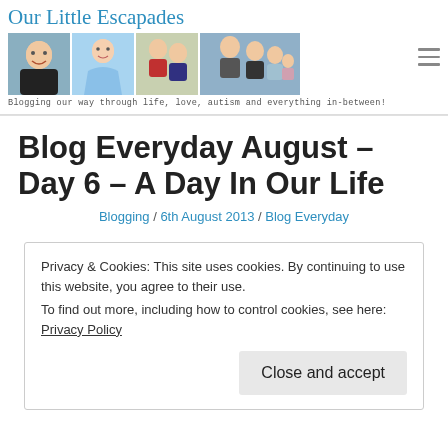[Figure (logo): Our Little Escapades blog header with logo text and four family photos, tagline: Blogging our way through life, love, autism and everything in-between!]
Blog Everyday August – Day 6 – A Day In Our Life
Blogging / 6th August 2013 / Blog Everyday
Privacy & Cookies: This site uses cookies. By continuing to use this website, you agree to their use.
To find out more, including how to control cookies, see here: Privacy Policy
Close and accept